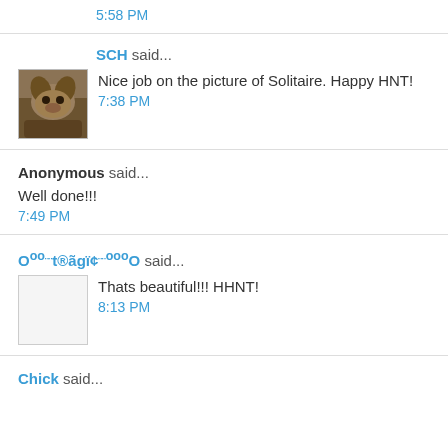5:58 PM
SCH said...
[Figure (photo): Small avatar photo of a dog]
Nice job on the picture of Solitaire. Happy HNT!
7:38 PM
Anonymous said...
Well done!!!
7:49 PM
O°ºº¨¨t®ãgï¢¨¨ºººO said...
[Figure (photo): Small blank/placeholder avatar image]
Thats beautiful!!! HHNT!
8:13 PM
Chick said...